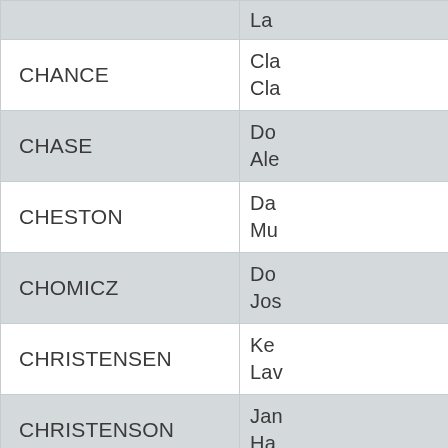| Last Name | First Name(s) |
| --- | --- |
|  | La... |
| CHANCE | Cla...
Cla... |
| CHASE | Do...
Ale... |
| CHESTON | Da...
Mu... |
| CHOMICZ | Do...
Jos... |
| CHRISTENSEN | Ke...
Lav... |
| CHRISTENSON | Jan...
Ha... |